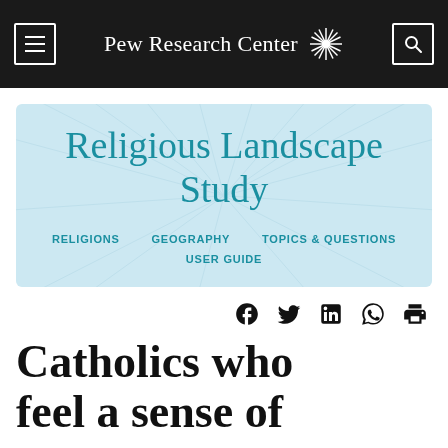Pew Research Center
[Figure (screenshot): Religious Landscape Study banner with teal title text on light blue background with radiating rays. Navigation links: RELIGIONS, GEOGRAPHY, TOPICS & QUESTIONS, USER GUIDE.]
Share icons: Facebook, Twitter, LinkedIn, WhatsApp, Print
Catholics who feel a sense of